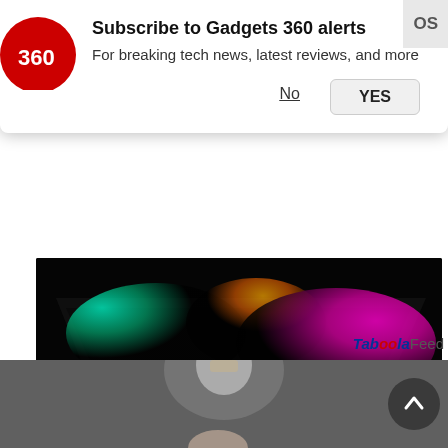[Figure (screenshot): Gadgets 360 notification subscription popup with red circular logo, title 'Subscribe to Gadgets 360 alerts', subtitle 'For breaking tech news, latest reviews, and more', and No/YES buttons]
OS
[Figure (photo): Close-up of a colorful glowing laptop with rainbow keyboard lighting against a dark background]
5 Premium Laptops You Can Buy Right Now
Taboola Feed
[Figure (photo): A hand holding a white LED light bulb against a dark background]